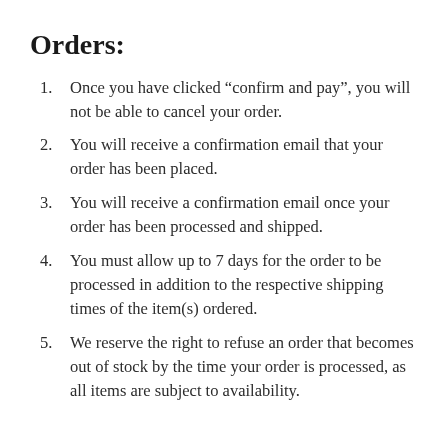Orders:
Once you have clicked “confirm and pay”, you will not be able to cancel your order.
You will receive a confirmation email that your order has been placed.
You will receive a confirmation email once your order has been processed and shipped.
You must allow up to 7 days for the order to be processed in addition to the respective shipping times of the item(s) ordered.
We reserve the right to refuse an order that becomes out of stock by the time your order is processed, as all items are subject to availability.